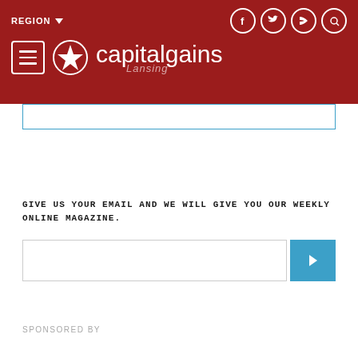[Figure (logo): Capital Gains Lansing website header with dark red background, navigation menu button, star logo icon, 'capitalgains' text with 'Lansing' subtitle, REGION dropdown, and social media icons (Facebook, Twitter, RSS, Search)]
GIVE US YOUR EMAIL AND WE WILL GIVE YOU OUR WEEKLY ONLINE MAGAZINE.
SPONSORED BY